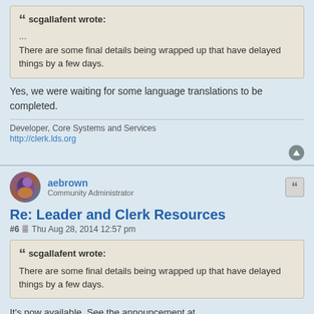scgallafent wrote:
...
There are some final details being wrapped up that have delayed things by a few days.
Yes, we were waiting for some language translations to be completed.
Developer, Core Systems and Services
http://clerk.lds.org
aebrown
Community Administrator
Re: Leader and Clerk Resources
#6  Thu Aug 28, 2014 12:57 pm
scgallafent wrote:
There are some final details being wrapped up that have delayed things by a few days.
It's now available. See the announcement at Ward Council Members and Presidencies Now Have Access to LCR.